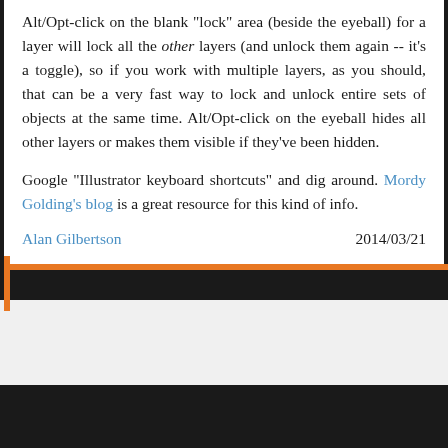Alt/Opt-click on the blank "lock" area (beside the eyeball) for a layer will lock all the other layers (and unlock them again -- it's a toggle), so if you work with multiple layers, as you should, that can be a very fast way to lock and unlock entire sets of objects at the same time. Alt/Opt-click on the eyeball hides all other layers or makes them visible if they've been hidden.
Google "Illustrator keyboard shortcuts" and dig around. Mordy Golding's blog is a great resource for this kind of info.
Alan Gilbertson   2014/03/21